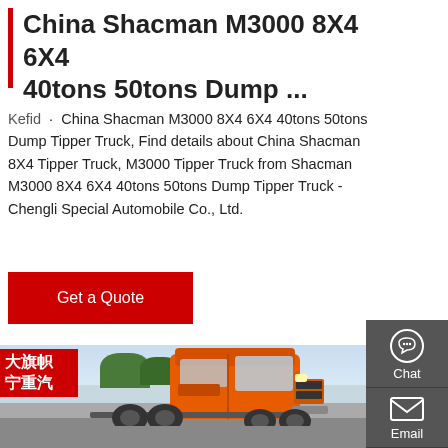China Shacman M3000 8X4 6X4 40tons 50tons Dump ...
Kefid · China Shacman M3000 8X4 6X4 40tons 50tons Dump Tipper Truck, Find details about China Shacman 8X4 Tipper Truck, M3000 Tipper Truck from Shacman M3000 8X4 6X4 40tons 50tons Dump Tipper Truck - Chengli Special Automobile Co., Ltd.
[Figure (screenshot): Red 'Get a Quote' button]
[Figure (photo): Orange Shacman dump truck parked outside with red Chinese banner and trees in background. Sidebar with Chat, Email, Contact, Top icons visible on right.]